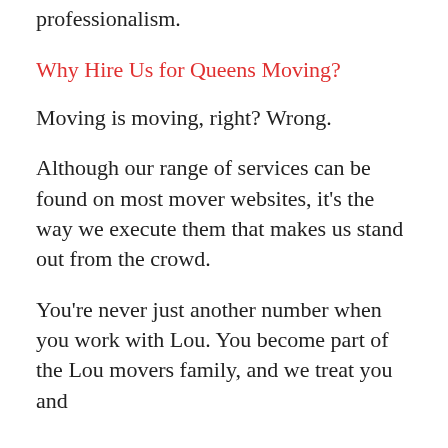reputation for care, attention, and utmost professionalism.
Why Hire Us for Queens Moving?
Moving is moving, right? Wrong.
Although our range of services can be found on most mover websites, it’s the way we execute them that makes us stand out from the crowd.
You’re never just another number when you work with Lou. You become part of the Lou movers family, and we treat you and